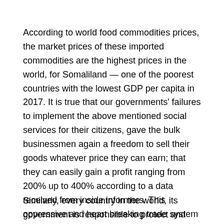According to world food commodities prices, the market prices of these imported commodities are the highest prices in the world, for Somaliland — one of the poorest countries with the lowest GDP per capita in 2017. It is true that our governments' failures to implement the above mentioned social services for their citizens, gave the bulk businessmen again a freedom to sell their goods whatever price they can earn; that they can easily gain a profit ranging from 200% up to 400% according to a data received from inside informers. This oppressive and heart breaking trade system upon our poor people sucks the lifeblood out of all lower and middle class people and transfers their small having to the few rich companies and commercial giants.
Similarly, every country in the world, its government is responsible to protect and control the quality and Safety